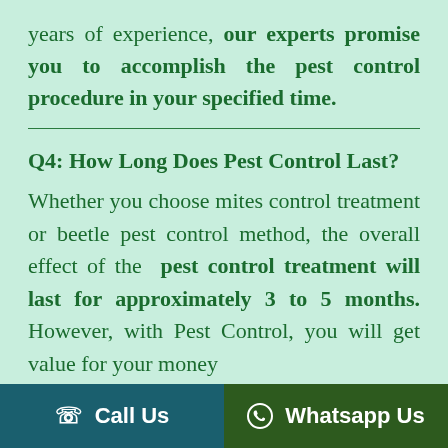years of experience, our experts promise you to accomplish the pest control procedure in your specified time.
Q4: How Long Does Pest Control Last?
Whether you choose mites control treatment or beetle pest control method, the overall effect of the pest control treatment will last for approximately 3 to 5 months. However, with Pest Control, you will get value for your money
Call Us   Whatsapp Us